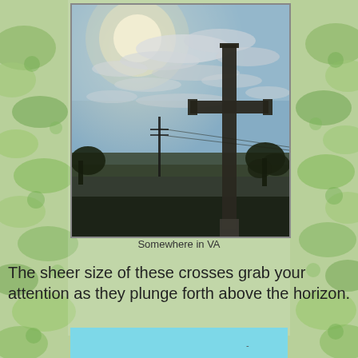[Figure (photo): A large wooden cross silhouetted against a cloudy sky with bright sun, landscape with trees and a utility pole in the background. Caption: Somewhere in VA]
Somewhere in VA
The sheer size of these crosses grab your attention as they plunge forth above the horizon.